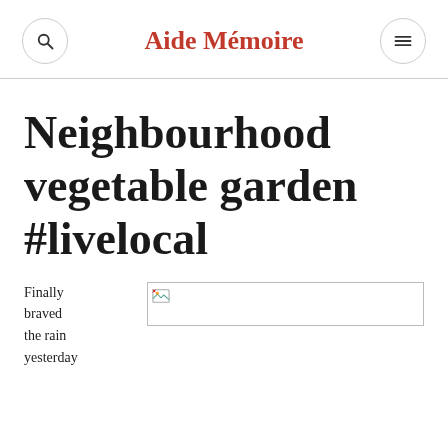Aide Mémoire
Neighbourhood vegetable garden #livelocal
Finally braved the rain yesterday